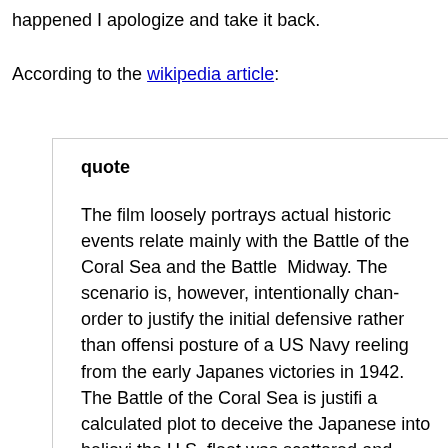happened I apologize and take it back.
According to the wikipedia article:
quote
The film loosely portrays actual historic events relate... mainly with the Battle of the Coral Sea and the Battle of Midway. The scenario is, however, intentionally changed in order to justify the initial defensive rather than offensive posture of a US Navy reeling from the early Japanese victories in 1942. The Battle of the Coral Sea is justified as a calculated plot to deceive the Japanese into believing the U.S. fleet was scattered and vulnerable, while the Battle of Midway is depicted as the eventual springing of this carefully laid trap which thereby caught the enemy at a disadvantage. In actuality, the losses at Pearl Harbor and the numerical superiority of the Japanese had the Americans operating constantly on the defensive in the early period of the Pacific war. It was mainly superior military intelligence, specifically the breaking of the Japanese code that was responsible the achieving A